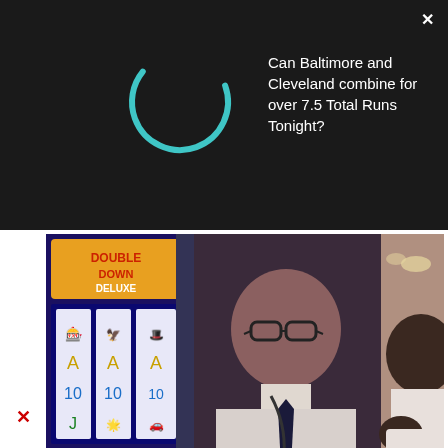[Figure (screenshot): Advertisement banner with dark background. Shows a loading spinner arc (teal/cyan partial circle) on the left, a close X button top right, and white text asking 'Can Baltimore and Cleveland combine for over 7.5 Total Runs Tonight?']
[Figure (photo): Video thumbnail showing a casino scene with slot machines on the left displaying a card game interface, and a man wearing glasses, a white shirt, dark tie and lanyard in the center, with another person in white shirt visible on the right.]
Can Baltimore and Cleveland combine for over 7.5 Total Runs Tonight?